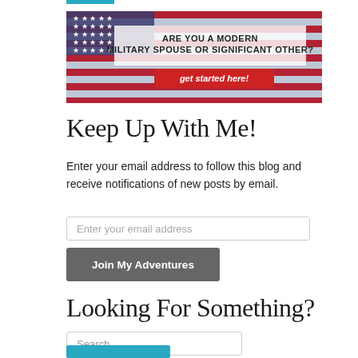[Figure (infographic): Banner image with American flag background. Text reads: ARE YOU A MODERN MILITARY SPOUSE OR SIGNIFICANT OTHER? get started here! (red button)]
Keep Up With Me!
Enter your email address to follow this blog and receive notifications of new posts by email.
Enter your email address (input field)
Join My Adventures (button)
Looking For Something?
Search ... (input field)